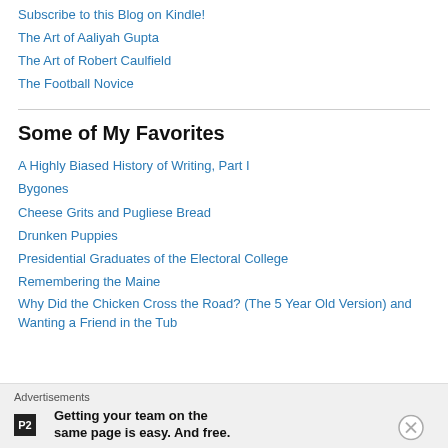Subscribe to this Blog on Kindle!
The Art of Aaliyah Gupta
The Art of Robert Caulfield
The Football Novice
Some of My Favorites
A Highly Biased History of Writing, Part I
Bygones
Cheese Grits and Pugliese Bread
Drunken Puppies
Presidential Graduates of the Electoral College
Remembering the Maine
Why Did the Chicken Cross the Road? (The 5 Year Old Version) and Wanting a Friend in the Tub
Advertisements
Getting your team on the same page is easy. And free.